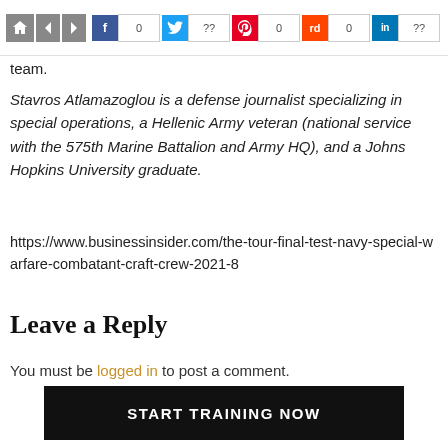[Figure (screenshot): Social sharing bar with home/nav icons and Facebook (0), Twitter (??), Pinterest (0), Reddit (0), LinkedIn (??) share counts]
team.
Stavros Atlamazoglou is a defense journalist specializing in special operations, a Hellenic Army veteran (national service with the 575th Marine Battalion and Army HQ), and a Johns Hopkins University graduate.
https://www.businessinsider.com/the-tour-final-test-navy-special-warfare-combatant-craft-crew-2021-8
Leave a Reply
You must be logged in to post a comment.
START TRAINING NOW